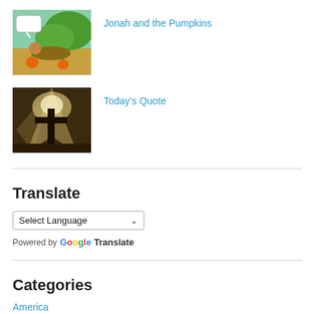[Figure (illustration): Thumbnail image showing a biblical scene with pumpkins, a figure reclining outdoors with orange pumpkins and green foliage, speech bubble visible.]
Jonah and the Pumpkins
[Figure (illustration): Thumbnail image showing a dramatic scene with a large wooden cross silhouetted against a stormy sky with light rays.]
Today's Quote
Translate
Select Language
Powered by Google Translate
Categories
America